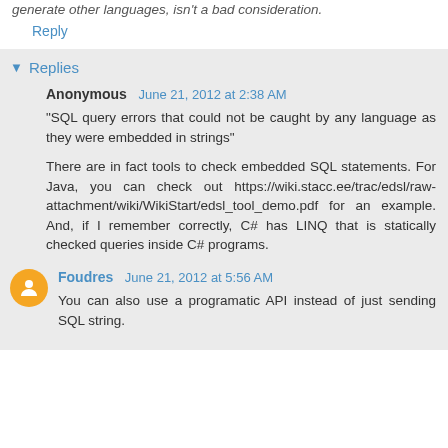generate other languages, isn't a bad consideration.
Reply
Replies
Anonymous  June 21, 2012 at 2:38 AM
"SQL query errors that could not be caught by any language as they were embedded in strings"
There are in fact tools to check embedded SQL statements. For Java, you can check out https://wiki.stacc.ee/trac/edsl/raw-attachment/wiki/WikiStart/edsl_tool_demo.pdf for an example. And, if I remember correctly, C# has LINQ that is statically checked queries inside C# programs.
Foudres  June 21, 2012 at 5:56 AM
You can also use a programatic API instead of just sending SQL string.